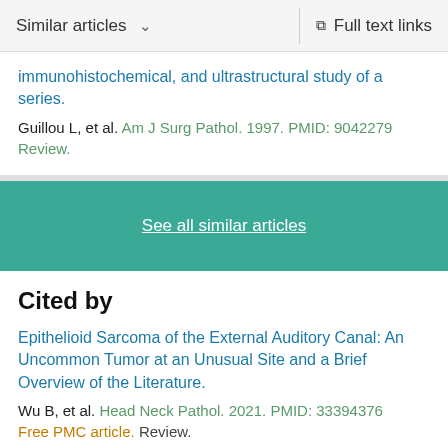Similar articles  ∨    Full text links
immunohistochemical, and ultrastructural study of a series.
Guillou L, et al. Am J Surg Pathol. 1997. PMID: 9042279
Review.
See all similar articles
Cited by
Epithelioid Sarcoma of the External Auditory Canal: An Uncommon Tumor at an Unusual Site and a Brief Overview of the Literature.
Wu B, et al. Head Neck Pathol. 2021. PMID: 33394376
Free PMC article. Review.